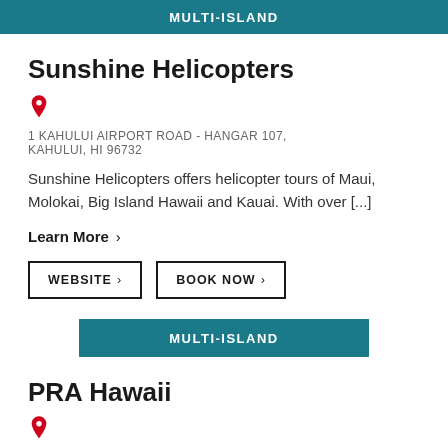MULTI-ISLAND
Sunshine Helicopters
1 KAHULUI AIRPORT ROAD - HANGAR 107, KAHULUI, HI 96732
Sunshine Helicopters offers helicopter tours of Maui, Molokai, Big Island Hawaii and Kauai. With over [...]
Learn More  ›
WEBSITE  ›   BOOK NOW  ›
MULTI-ISLAND
PRA Hawaii